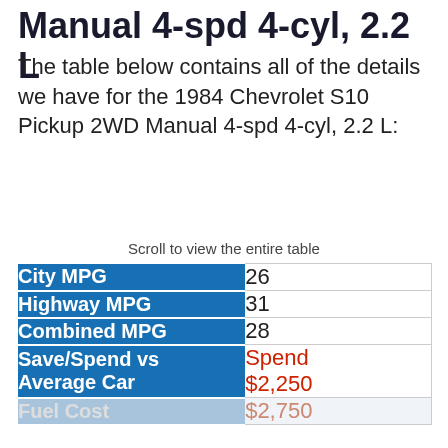Manual 4-spd 4-cyl, 2.2 L
The table below contains all of the details we have for the 1984 Chevrolet S10 Pickup 2WD Manual 4-spd 4-cyl, 2.2 L:
Scroll to view the entire table
|  |  |
| --- | --- |
| City MPG | 26 |
| Highway MPG | 31 |
| Combined MPG | 28 |
| Save/Spend vs Average Car | Spend $2,250 |
| Fuel Cost | $2,750 |